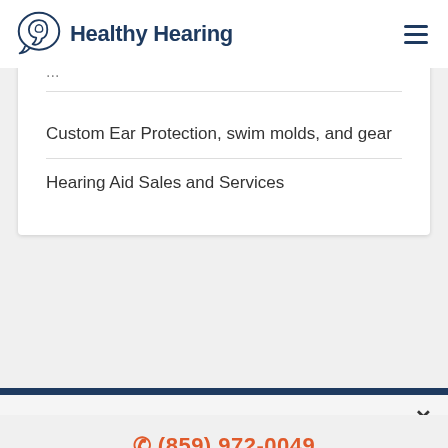Healthy Hearing
[partial text clipped at top]
Custom Ear Protection, swim molds, and gear
Hearing Aid Sales and Services
We are dedicated to being transparent about the use of your personal data. Our Privacy Policy explains how we collect your personal information to customize your browsing experience. Read more.
(859) 972-0049